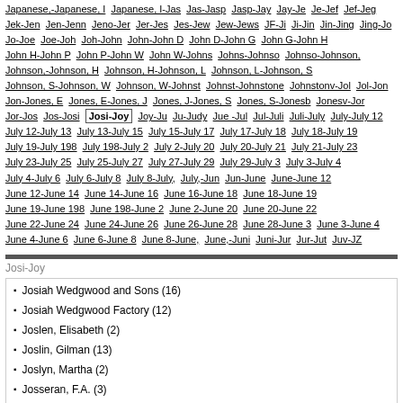Japanese,-Japanese, I Japanese, I-Jas Jas-Jasp Jasp-Jay Jay-Je Je-Jef Jef-Jeg Jek-Jen Jen-Jenn Jeno-Jer Jer-Jes Jes-Jew Jew-Jews JF-Ji Ji-Jin Jin-Jing Jing-Jo Jo-Joe Joe-Joh Joh-John John-John D John D-John G John G-John H John H-John P John P-John W John W-Johns Johns-Johnso Johnso-Johnson, Johnson,-Johnson, H Johnson, H-Johnson, L Johnson, L-Johnson, S Johnson, S-Johnson, W Johnson, W-Johnst Johnst-Johnstone Johnstonv-Jol Jol-Jon Jon-Jones, E Jones, E-Jones, J Jones, J-Jones, S Jones, S-Jonesb Jonesv-Jor Jor-Jos Jos-Josi Josi-Joy Joy-Ju Ju-Judy Jue -Jul Jul-Juli Juli-July July-July 12 July 12-July 13 July 13-July 15 July 15-July 17 July 17-July 18 July 18-July 19 July 19-July 198 July 198-July 2 July 2-July 20 July 20-July 21 July 21-July 23 July 23-July 25 July 25-July 27 July 27-July 29 July 29-July 3 July 3-July 4 July 4-July 6 July 6-July 8 July 8-July, July,-Jun Jun-June June-June 12 June 12-June 14 June 14-June 16 June 16-June 18 June 18-June 19 June 19-June 198 June 198-June 2 June 2-June 20 June 20-June 22 June 22-June 24 June 24-June 26 June 26-June 28 June 28-June 3 June 3-June 4 June 4-June 6 June 6-June 8 June 8-June, June,-Juni Juni-Jur Jur-Jut Juv-JZ
Josi-Joy
Josiah Wedgwood and Sons (16)
Josiah Wedgwood Factory (12)
Joslen, Elisabeth (2)
Joslin, Gilman (13)
Joslyn, Martha (2)
Josseran, F.A. (3)
Josse, Charles (2)